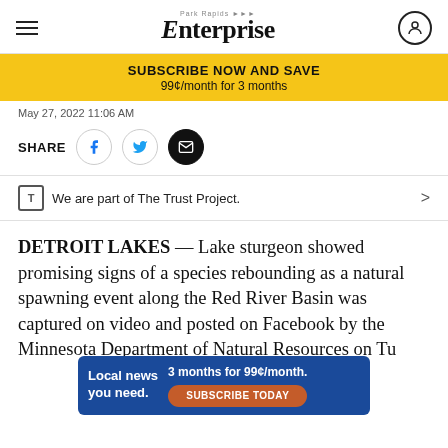Park Rapids Enterprise
SUBSCRIBE NOW AND SAVE 99¢/month for 3 months
May 27, 2022 11:06 AM
SHARE
We are part of The Trust Project.
DETROIT LAKES — Lake sturgeon showed promising signs of a species rebounding as a natural spawning event along the Red River Basin was captured on video and posted on Facebook by the Minnesota Department of Natural Resources on Tu
[Figure (infographic): Inline subscription advertisement: 'Local news you need. 3 months for 99¢/month. SUBSCRIBE TODAY' on blue background with orange button]